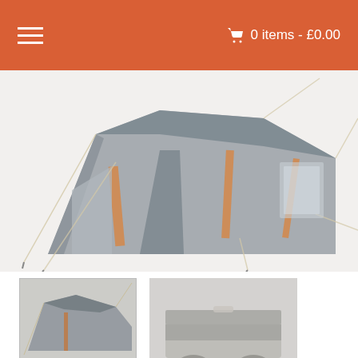☰   🛒 0 items - £0.00
[Figure (photo): Main product photo of a large grey and orange OLPRO Apollo 4 Berth tent, shown pitched from a front-angle view with guy ropes extended]
[Figure (photo): Thumbnail photo of the tent from a side angle showing the entrance]
[Figure (photo): Thumbnail photo showing the tent storage bag or related accessories on a vehicle]
Loan & Go Olpro Apollo 4 Berth Tent ( Leeds 2022)